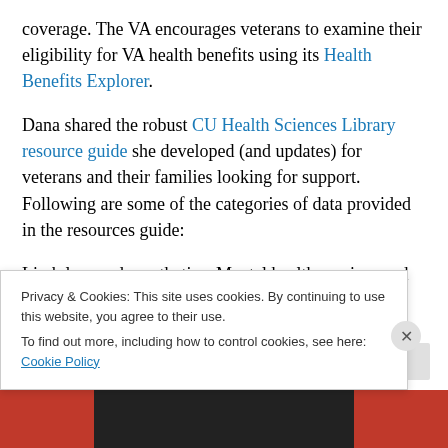coverage. The VA encourages veterans to examine their eligibility for VA health benefits using its Health Benefits Explorer.
Dana shared the robust CU Health Sciences Library resource guide she developed (and updates) for veterans and their families looking for support. Following are some of the categories of data provided in the resources guide:
Limb loss and prosthetics; Mental health services and resources; Spinal cord injury and disease; Traumatic brain injury; Hearing; Vision; and more...
Privacy & Cookies: This site uses cookies. By continuing to use this website, you agree to their use. To find out more, including how to control cookies, see here: Cookie Policy